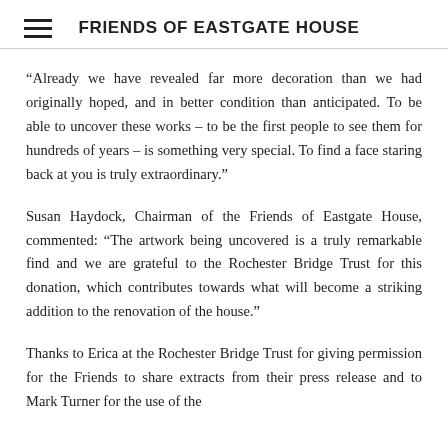FRIENDS OF EASTGATE HOUSE
“Already we have revealed far more decoration than we had originally hoped, and in better condition than anticipated. To be able to uncover these works – to be the first people to see them for hundreds of years – is something very special. To find a face staring back at you is truly extraordinary.”
Susan Haydock, Chairman of the Friends of Eastgate House, commented: “The artwork being uncovered is a truly remarkable find and we are grateful to the Rochester Bridge Trust for this donation, which contributes towards what will become a striking addition to the renovation of the house.”
Thanks to Erica at the Rochester Bridge Trust for giving permission for the Friends to share extracts from their press release and to Mark Turner for the use of the